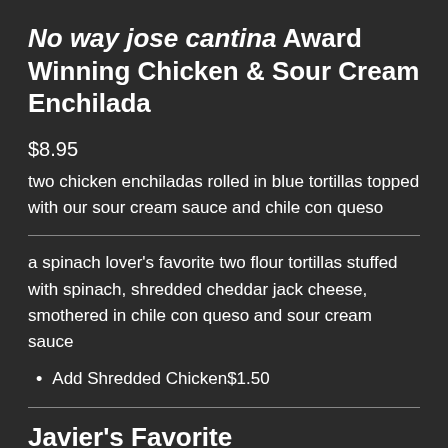No way jose cantina Award Winning Chicken & Sour Cream Enchilada
$8.95
two chicken enchiladas rolled in blue tortillas topped with our sour cream sauce and chile con queso
a spinach lover's favorite two flour tortillas stuffed with spinach, shredded cheddar jack cheese, smothered in chile con queso and sour cream sauce
Add Shredded Chicken$1.50
Javier's Favorite
$9.95
two ground beef enchiladas covered in enchilada sauce and